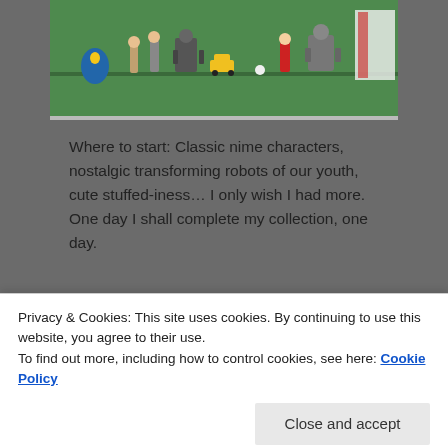[Figure (photo): Photo of toy figures and collectibles arranged on a green surface, including anime characters, transforming robots, stuffed animals, and toy cars]
Where to start: Classic nime characters, nostalgic transforming robots of our youth, cute stuffed-iness… I only wish I had more. One day I shall complete my collection, one day.
and a better world.
[Figure (screenshot): Apply button (blue) and circular photo of a man in a beige shirt wearing glasses, in a thoughtful pose]
Privacy & Cookies: This site uses cookies. By continuing to use this website, you agree to their use.
To find out more, including how to control cookies, see here: Cookie Policy
Close and accept